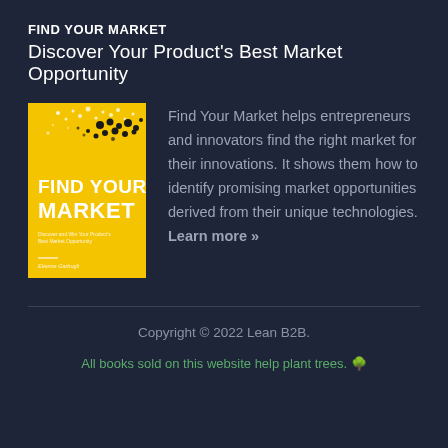FIND YOUR MARKET
Discover Your Product's Best Market Opportunity
[Figure (illustration): Book cover for 'Find Your Market' by Etienne Garbugli. Yellow cover with black dot pattern and bold white text reading FIND YOUR MARKET.]
Find Your Market helps entrepreneurs and innovators find the right market for their innovations. It shows them how to identify promising market opportunities derived from their unique technologies. Learn more »
Copyright © 2022 Lean B2B.
All books sold on this website help plant trees. 🌳